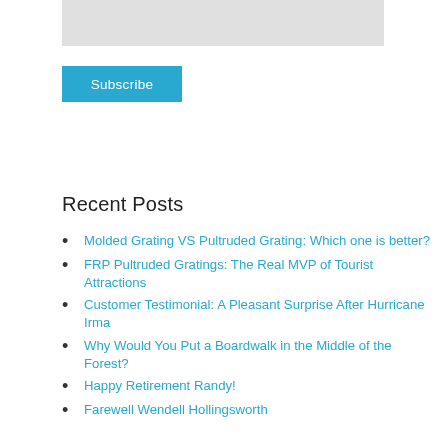[Figure (other): Gray rectangular bar at top of page]
Subscribe
Recent Posts
Molded Grating VS Pultruded Grating: Which one is better?
FRP Pultruded Gratings: The Real MVP of Tourist Attractions
Customer Testimonial: A Pleasant Surprise After Hurricane Irma
Why Would You Put a Boardwalk in the Middle of the Forest?
Happy Retirement Randy!
Farewell Wendell Hollingsworth